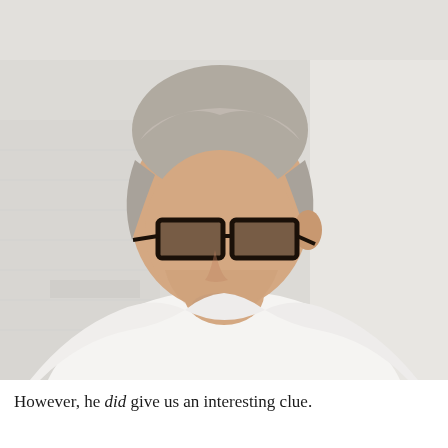[Figure (photo): A middle-aged man with short silver-grey hair and dark rectangular glasses, wearing a white t-shirt, looking downward. He is photographed in a white-tiled bathroom or similar light-colored interior setting.]
However, he did give us an interesting clue.